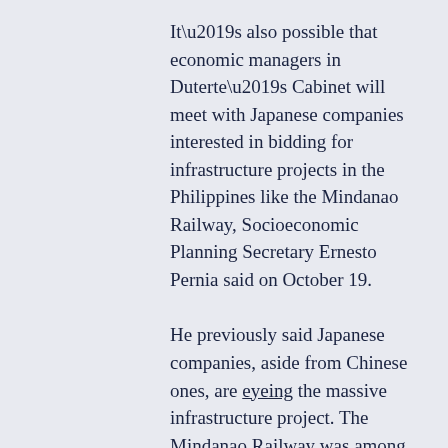It’s also possible that economic managers in Duterte’s Cabinet will meet with Japanese companies interested in bidding for infrastructure projects in the Philippines like the Mindanao Railway, Socioeconomic Planning Secretary Ernesto Pernia said on October 19.
He previously said Japanese companies, aside from Chinese ones, are eyeing the massive infrastructure project. The Mindanao Railway was among Duterte’s biggest campaign promises.
Japan has long been a partner of the Philippine government in transportation and infrastructure projects.
Last year, Japan announced it would lend the